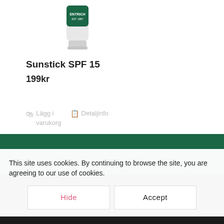[Figure (photo): Product image of sunstick with green label showing ENTRICH branding]
Sunstick SPF 15
199kr
Lägg i varukorg
Detaljinfo
Nyhetsbrev
Prenumerera på vårt nyhetsbrev
Namn
This site uses cookies. By continuing to browse the site, you are agreeing to our use of cookies.
Hide
Accept